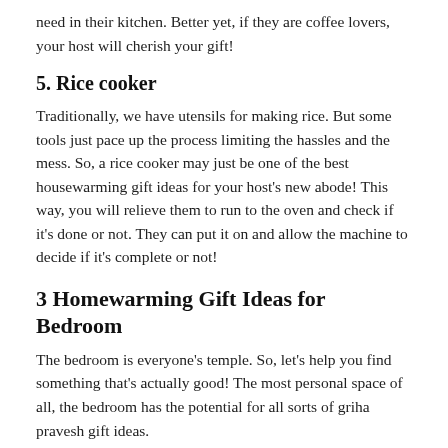need in their kitchen. Better yet, if they are coffee lovers, your host will cherish your gift!
5. Rice cooker
Traditionally, we have utensils for making rice. But some tools just pace up the process limiting the hassles and the mess. So, a rice cooker may just be one of the best housewarming gift ideas for your host's new abode! This way, you will relieve them to run to the oven and check if it's done or not. They can put it on and allow the machine to decide if it's complete or not!
3 Homewarming Gift Ideas for Bedroom
The bedroom is everyone's temple. So, let's help you find something that's actually good! The most personal space of all, the bedroom has the potential for all sorts of griha pravesh gift ideas.